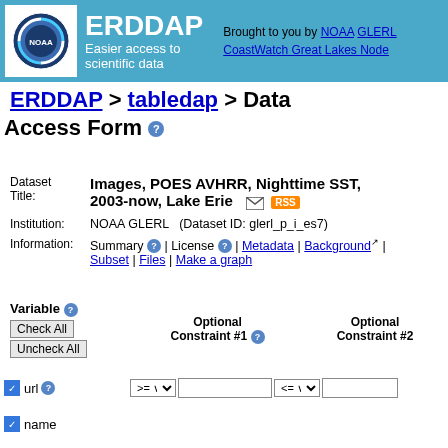[Figure (logo): NOAA ERDDAP header banner with NOAA circular logo, ERDDAP title, subtitle 'Easier access to scientific data', and attribution links]
ERDDAP > tabledap > Data Access Form
Dataset Title: Images, POES AVHRR, Nighttime SST, 2003-now, Lake Erie
Institution: NOAA GLERL   (Dataset ID: glerl_p_i_es7)
Information: Summary | License | Metadata | Background | Subset | Files | Make a graph
Variable  Optional Constraint #1  Optional Constraint #2
Check All / Uncheck All
url
name